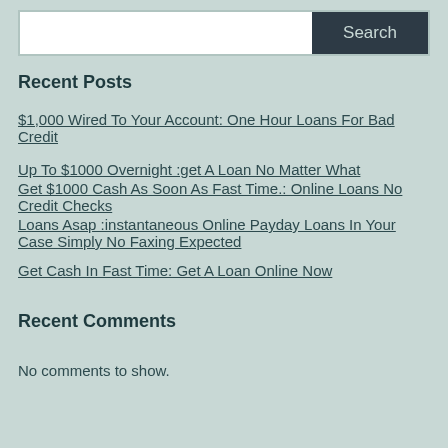[Figure (other): Search bar with white input field and dark button labeled Search]
Recent Posts
$1,000 Wired To Your Account: One Hour Loans For Bad Credit
Up To $1000 Overnight :get A Loan No Matter What
Get $1000 Cash As Soon As Fast Time.: Online Loans No Credit Checks
Loans Asap :instantaneous Online Payday Loans In Your Case Simply No Faxing Expected
Get Cash In Fast Time: Get A Loan Online Now
Recent Comments
No comments to show.